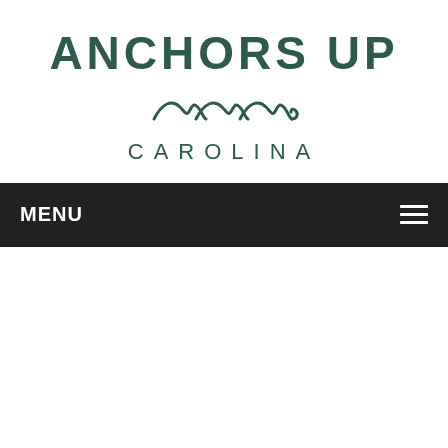[Figure (logo): Anchors Up Carolina logo with wave graphic — bold dark teal uppercase text 'ANCHORS UP', stylized wave icon below, then 'CAROLINA' in spaced uppercase letters]
MENU ☰